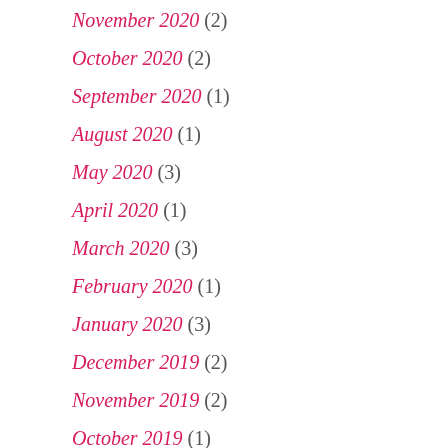November 2020 (2)
October 2020 (2)
September 2020 (1)
August 2020 (1)
May 2020 (3)
April 2020 (1)
March 2020 (3)
February 2020 (1)
January 2020 (3)
December 2019 (2)
November 2019 (2)
October 2019 (1)
September 2019 (2)
August 2019 (3)